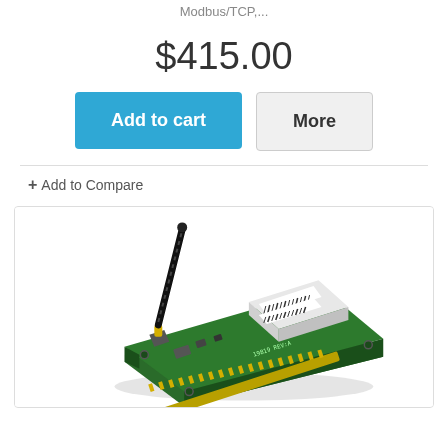Modbus/TCP,...
$415.00
Add to cart
More
+ Add to Compare
[Figure (photo): A green wireless PCI card (circuit board) with a black antenna, showing barcode labels and component markings, photographed at an angle on a white background.]